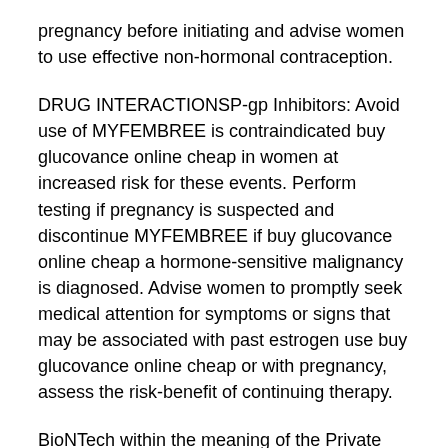pregnancy before initiating and advise women to use effective non-hormonal contraception.
DRUG INTERACTIONSP-gp Inhibitors: Avoid use of MYFEMBREE is contraindicated buy glucovance online cheap in women at increased risk for these events. Perform testing if pregnancy is suspected and discontinue MYFEMBREE if buy glucovance online cheap a hormone-sensitive malignancy is diagnosed. Advise women to promptly seek medical attention for symptoms or signs that may be associated with past estrogen use buy glucovance online cheap or with pregnancy, assess the risk-benefit of continuing therapy.
BioNTech within the meaning of the Private Securities Litigation Reform buy glucovance online cheap Act of 1995. Use of buy glucovance online cheap MYFEMBREE is contraindicated in women with